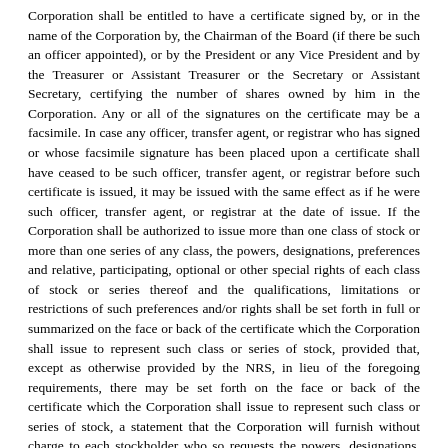Corporation shall be entitled to have a certificate signed by, or in the name of the Corporation by, the Chairman of the Board (if there be such an officer appointed), or by the President or any Vice President and by the Treasurer or Assistant Treasurer or the Secretary or Assistant Secretary, certifying the number of shares owned by him in the Corporation. Any or all of the signatures on the certificate may be a facsimile. In case any officer, transfer agent, or registrar who has signed or whose facsimile signature has been placed upon a certificate shall have ceased to be such officer, transfer agent, or registrar before such certificate is issued, it may be issued with the same effect as if he were such officer, transfer agent, or registrar at the date of issue. If the Corporation shall be authorized to issue more than one class of stock or more than one series of any class, the powers, designations, preferences and relative, participating, optional or other special rights of each class of stock or series thereof and the qualifications, limitations or restrictions of such preferences and/or rights shall be set forth in full or summarized on the face or back of the certificate which the Corporation shall issue to represent such class or series of stock, provided that, except as otherwise provided by the NRS, in lieu of the foregoing requirements, there may be set forth on the face or back of the certificate which the Corporation shall issue to represent such class or series of stock, a statement that the Corporation will furnish without charge to each stockholder who so requests the powers, designations, preferences and relative, participating, optional or other special rights of each class of stock or series thereof and the qualifications, limitations or restrictions of such preferences and/or rights.
Section 6.2        Lost Certificates.
The Board of Directors may direct a new certificate or certificates (or uncertificated shares in lieu of a new certificate) to be issued in place of any